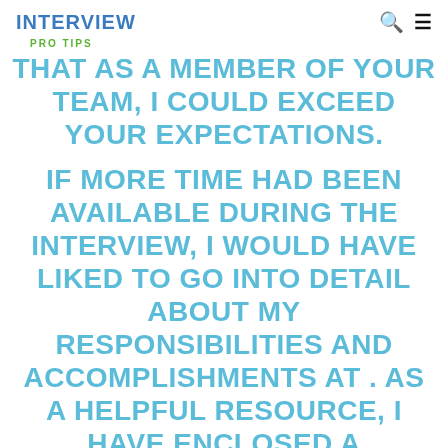INTERVIEW
PRO TIPS
THAT AS A MEMBER OF YOUR TEAM, I COULD EXCEED YOUR EXPECTATIONS.
IF MORE TIME HAD BEEN AVAILABLE DURING THE INTERVIEW, I WOULD HAVE LIKED TO GO INTO DETAIL ABOUT MY RESPONSIBILITIES AND ACCOMPLISHMENTS AT . AS A HELPFUL RESOURCE, I HAVE ENCLOSED A PORTFOLIO THAT HIGHLIGHTS MY EXPERIENCE IN . IF YOU FEEL THAT MY SKILLS ALIGN